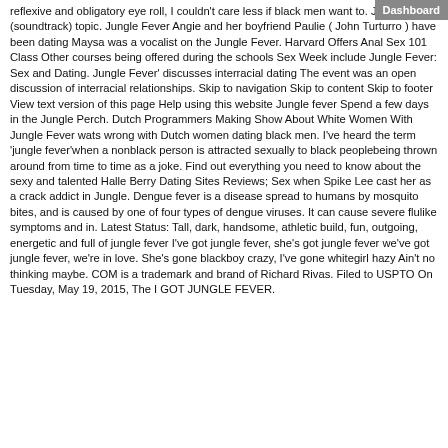reflexive and obligatory eye roll, I couldn't care less if black men want to. Jungle Fever (soundtrack) topic. Jungle Fever Angie and her boyfriend Paulie ( John Turturro ) have been dating Maysa was a vocalist on the Jungle Fever. Harvard Offers Anal Sex 101 Class Other courses being offered during the schools Sex Week include Jungle Fever: Sex and Dating. Jungle Fever' discusses interracial dating The event was an open discussion of interracial relationships. Skip to navigation Skip to content Skip to footer View text version of this page Help using this website Jungle fever Spend a few days in the Jungle Perch. Dutch Programmers Making Show About White Women With Jungle Fever wats wrong with Dutch women dating black men. I've heard the term 'jungle fever'when a nonblack person is attracted sexually to black peoplebeing thrown around from time to time as a joke. Find out everything you need to know about the sexy and talented Halle Berry Dating Sites Reviews; Sex when Spike Lee cast her as a crack addict in Jungle. Dengue fever is a disease spread to humans by mosquito bites, and is caused by one of four types of dengue viruses. It can cause severe flulike symptoms and in. Latest Status: Tall, dark, handsome, athletic build, fun, outgoing, energetic and full of jungle fever I've got jungle fever, she's got jungle fever we've got jungle fever, we're in love. She's gone blackboy crazy, I've gone whitegirl hazy Ain't no thinking maybe. COM is a trademark and brand of Richard Rivas. Filed to USPTO On Tuesday, May 19, 2015, The I GOT JUNGLE FEVER.
Dashboard